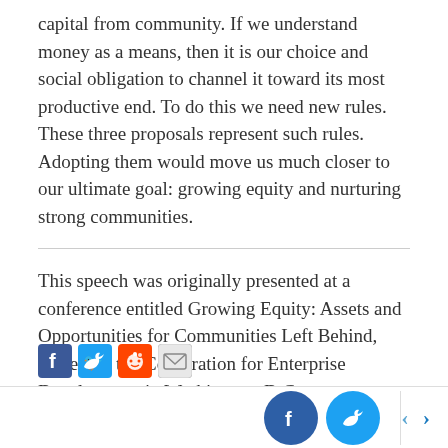capital from community. If we understand money as a means, then it is our choice and social obligation to channel it toward its most productive end. To do this we need new rules. These three proposals represent such rules. Adopting them would move us much closer to our ultimate goal: growing equity and nurturing strong communities.
This speech was originally presented at a conference entitled Growing Equity: Assets and Opportunities for Communities Left Behind, hosted by the Corporation for Enterprise Development in Washington, D.C., on December 4, 1997.
[Figure (other): Social sharing icons: Facebook, Twitter, Reddit, Email]
Bottom navigation bar with Facebook and Twitter share buttons and left/right navigation arrows